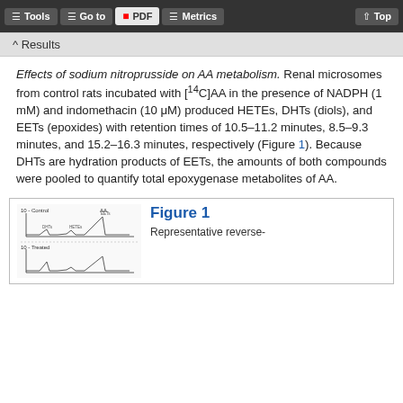Tools  Go to  PDF  Metrics  Top
^ Results
Effects of sodium nitroprusside on AA metabolism. Renal microsomes from control rats incubated with [14C]AA in the presence of NADPH (1 mM) and indomethacin (10 μM) produced HETEs, DHTs (diols), and EETs (epoxides) with retention times of 10.5–11.2 minutes, 8.5–9.3 minutes, and 15.2–16.3 minutes, respectively (Figure 1). Because DHTs are hydration products of EETs, the amounts of both compounds were pooled to quantify total epoxygenase metabolites of AA.
[Figure (other): Representative reverse-phase HPLC chromatogram showing two panels (Control and labeled) with peaks at various retention times corresponding to AA metabolites]
Figure 1 Representative reverse-